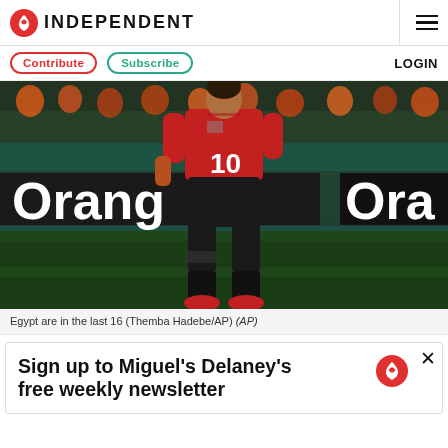INDEPENDENT
Contribute   Subscribe   LOGIN
[Figure (photo): Football player wearing number 10 jersey and red top standing on pitch with Orange advertising boards in background]
Egypt are in the last 16 (Themba Hadebe/AP) (AP)
Sign up to Miguel's Delaney's free weekly newsletter